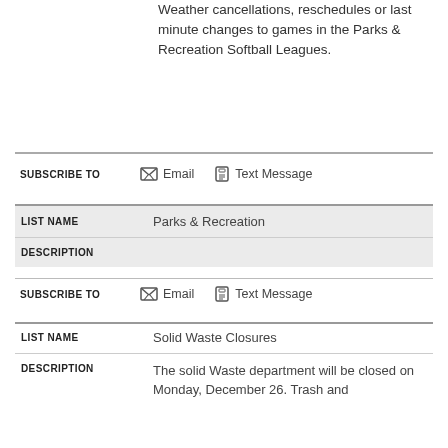Weather cancellations, reschedules or last minute changes to games in the Parks & Recreation Softball Leagues.
SUBSCRIBE TO  Email  Text Message
| LIST NAME | Parks & Recreation |
| --- | --- |
| DESCRIPTION |  |
SUBSCRIBE TO  Email  Text Message
| LIST NAME | Solid Waste Closures |
| --- | --- |
| DESCRIPTION | The solid Waste department will be closed on Monday, December 26. Trash and |